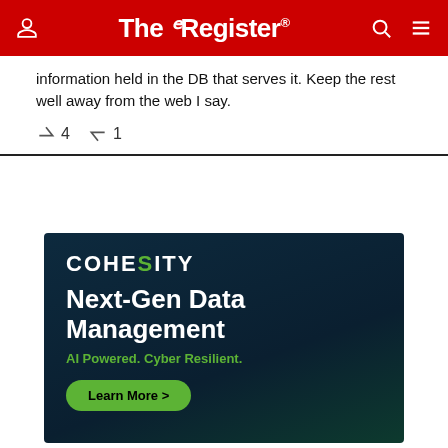The Register
information held in the DB that serves it. Keep the rest well away from the web I say.
↑4  ↓1
[Figure (infographic): Cohesity advertisement banner with dark teal background. Shows COHESITY logo, headline 'Next-Gen Data Management', subtext 'AI Powered. Cyber Resilient.' and a green 'Learn More >' button.]